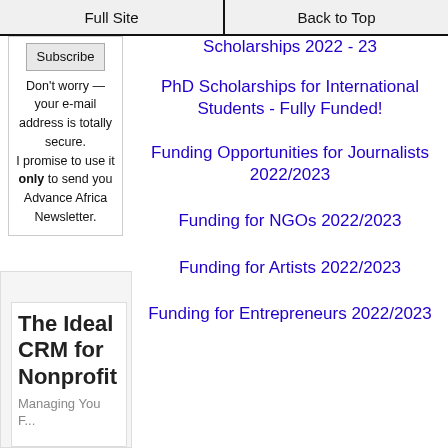Full Site | Back to Top
Subscribe
Don't worry — your e-mail address is totally secure.
I promise to use it only to send you Advance Africa Newsletter.
Scholarships 2022 - 23
PhD Scholarships for International Students - Fully Funded!
Funding Opportunities for Journalists 2022/2023
Funding for NGOs 2022/2023
[Figure (advertisement): Ad box: The Ideal CRM for Nonprofit - Managing You...]
Funding for Artists 2022/2023
Funding for Entrepreneurs 2022/2023